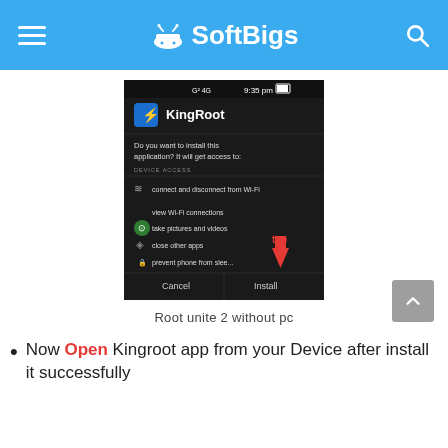SoftBigs
[Figure (screenshot): Android installation dialog for KingRoot app showing permissions including connect and disconnect from Wi-Fi, view Wi-Fi connections, take pictures and videos, close other apps, prevent phone from sleeping, with Cancel and Install buttons. A red arrow points to the Install button with 'tap' label.]
Root unite 2 without pc
Now Open Kingroot app from your Device after install it successfully